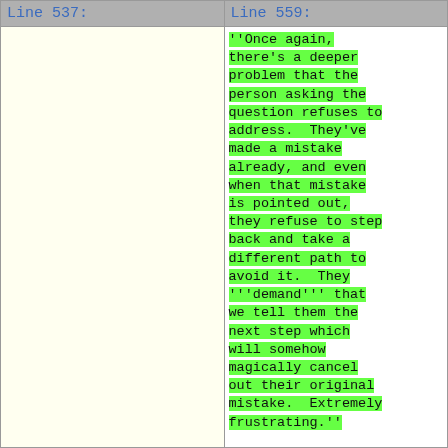Line 537:
Line 559:
''Once again, there's a deeper problem that the person asking the question refuses to address.  They've made a mistake already, and even when that mistake is pointed out, they refuse to step back and take a different path to avoid it.  They '''demand''' that we tell them the next step which will somehow magically cancel out their original mistake.  Extremely frustrating.''